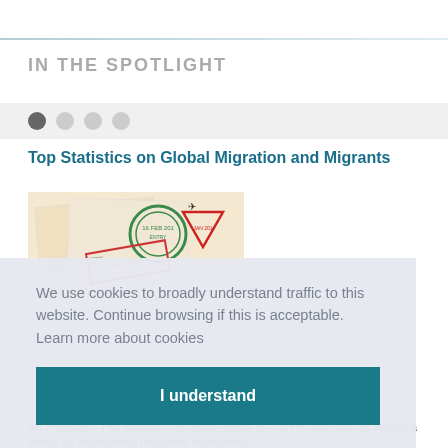IN THE SPOTLIGHT
[Figure (other): Carousel navigation dots — one filled dark, three empty/light]
Top Statistics on Global Migration and Migrants
[Figure (photo): Close-up photograph of passport pages with colorful immigration stamps from various countries]
We use cookies to broadly understand traffic to this website. Continue browsing if this is acceptable.  Learn more about cookies
I understand
bal migration.  This statistics-rich article draws on current data sources to offer a primer on international migration, highlighting